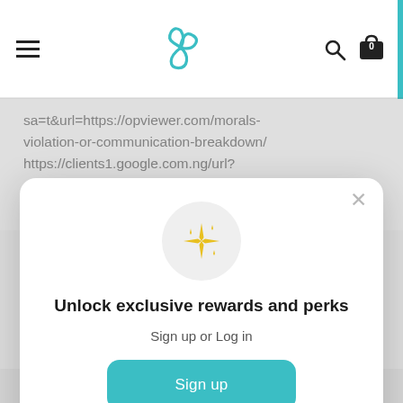Navigation bar with menu icon, triskelion logo, search and bag icons
sa=t&url=https://opviewer.com/morals-violation-or-communication-breakdown/ https://clients1.google.com.ng/url?sa=t&url=https://opviewer.com/morals-violation-or-communication-breakdown/
[Figure (screenshot): Modal popup with sparkles icon, title 'Unlock exclusive rewards and perks', subtitle 'Sign up or Log in', a teal 'Sign up' button, and a 'Already have an account? Sign in' link]
violation-or-communication-breakdown/